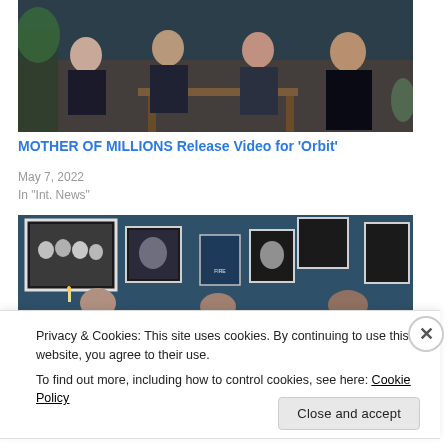[Figure (photo): Four men sitting on a couch in a living room setting with dark teal walls. They appear casual and relaxed.]
MOTHER OF MILLIONS Release Video for ‘Orbit’
May 7, 2022
In "Int. News"
[Figure (photo): Room with many framed photos and artwork on dark teal walls, including black-and-white band photos. People visible in the lower portion.]
Privacy & Cookies: This site uses cookies. By continuing to use this website, you agree to their use.
To find out more, including how to control cookies, see here: Cookie Policy
Close and accept